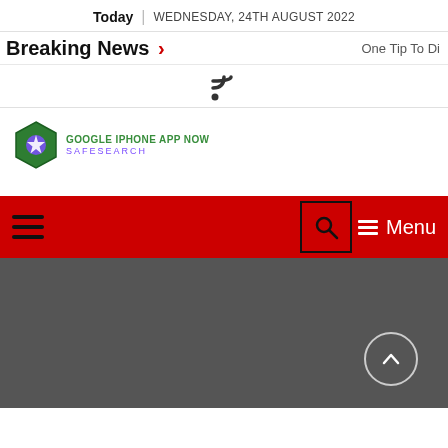Today | WEDNESDAY, 24TH AUGUST 2022
Breaking News > One Tip To Di
[Figure (other): RSS feed icon]
[Figure (logo): Google iPhone App Now SafeSearch logo with hexagon icon]
[Figure (screenshot): Red navigation bar with hamburger menu on left, search box and Menu button on right]
[Figure (other): Dark grey background area with scroll-to-top circular button in lower right]